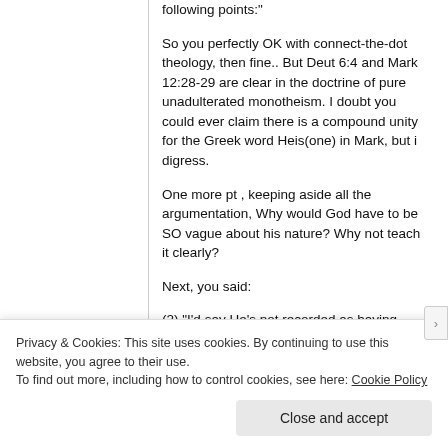following points:"
So you perfectly OK with connect-the-dot theology, then fine.. But Deut 6:4 and Mark 12:28-29 are clear in the doctrine of pure unadulterated monotheism. I doubt you could ever claim there is a compound unity for the Greek word Heis(one) in Mark, but i digress.
One more pt , keeping aside all the argumentation, Why would God have to be SO vague about his nature? Why not teach it clearly?
Next, you said:
(2) “I’d say He’s not recorded as having done so.” AND “ How do we know what Jesus did not teach in
Privacy & Cookies: This site uses cookies. By continuing to use this website, you agree to their use.
To find out more, including how to control cookies, see here: Cookie Policy
Close and accept